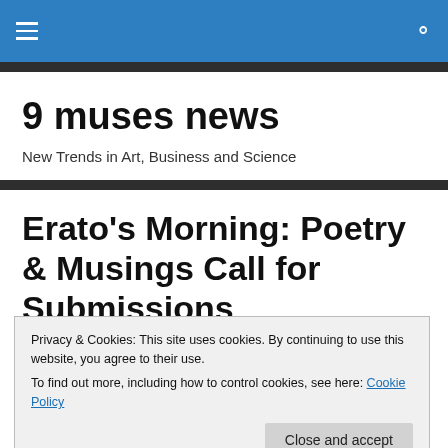9 muses news – navigation bar with hamburger menu and search icon
9 muses news
New Trends in Art, Business and Science
Erato's Morning: Poetry & Musings Call for Submissions
[Figure (photo): Blue-gray sky and water landscape photo]
Privacy & Cookies: This site uses cookies. By continuing to use this website, you agree to their use.
To find out more, including how to control cookies, see here: Cookie Policy

Close and accept